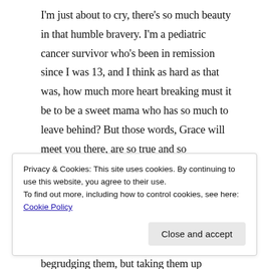I'm just about to cry, there's so much beauty in that humble bravery. I'm a pediatric cancer survivor who's been in remission since I was 13, and I think as hard as that was, how much more heart breaking must it be to be a sweet mama who has so much to leave behind? But those words, Grace will meet you there, are so true and so comforting–it's this that gives us the power to do whatever God calls of us, building our mission around anything and everything He hands us in life. I think that's what these hoops and hurdles in life are about–not begrudging them, but taking them up
Privacy & Cookies: This site uses cookies. By continuing to use this website, you agree to their use.
To find out more, including how to control cookies, see here: Cookie Policy